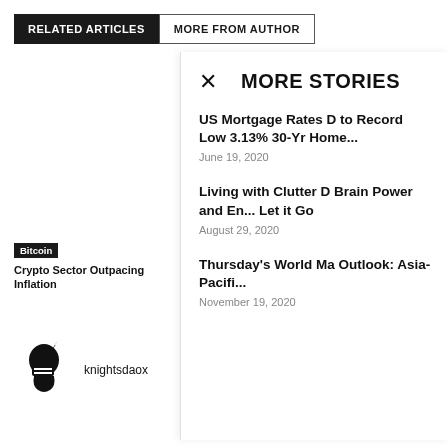RELATED ARTICLES
MORE FROM AUTHOR
Bitcoin
Crypto Sector Outpacing Inflation
Bi
"Cr Wo
[Figure (logo): Knight helmet logo]
knightsdaox
MORE STORIES
US Mortgage Rates D to Record Low 3.13% 30-Yr Home...
June 19, 2020
Living with Clutter D Brain Power and En... Let it Go
August 29, 2020
Thursday's World Ma Outlook: Asia-Pacifi...
November 19, 2020